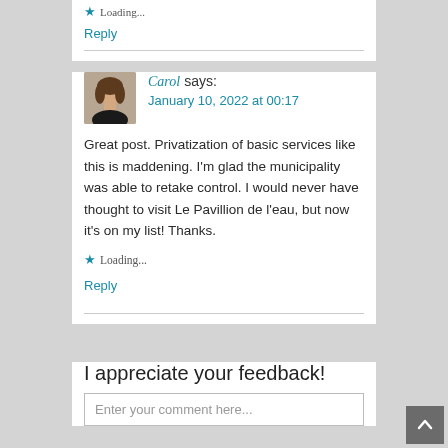Loading...
Reply
Carol says: January 10, 2022 at 00:17
Great post. Privatization of basic services like this is maddening. I'm glad the municipality was able to retake control. I would never have thought to visit Le Pavillion de l'eau, but now it's on my list! Thanks.
Loading...
Reply
I appreciate your feedback!
Enter your comment here...